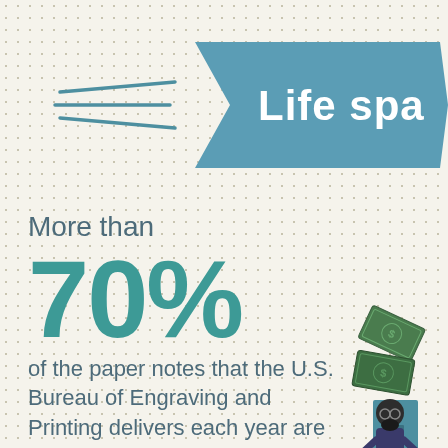[Figure (infographic): Teal arrow banner with speed lines pointing right, containing partial text 'Life spa' (Life span), infographic style illustration with dollar bills and a person figure]
More than 70% of the paper notes that the U.S. Bureau of Engraving and Printing delivers each year are used to replace older